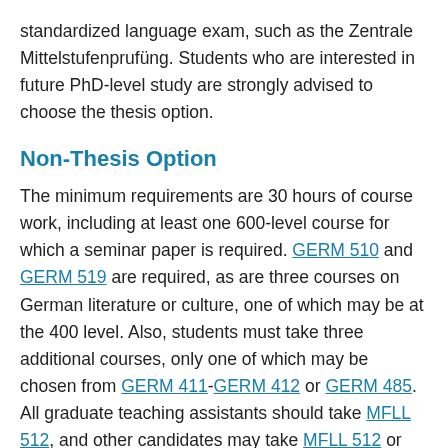standardized language exam, such as the Zentrale Mittelstufenprufüng. Students who are interested in future PhD-level study are strongly advised to choose the thesis option.
Non-Thesis Option
The minimum requirements are 30 hours of course work, including at least one 600-level course for which a seminar paper is required. GERM 510 and GERM 519 are required, as are three courses on German literature or culture, one of which may be at the 400 level. Also, students must take three additional courses, only one of which may be chosen from GERM 411-GERM 412 or GERM 485. All graduate teaching assistants should take MFLL 512, and other candidates may take MFLL 512 or any other 500-level course in German. A maximum of